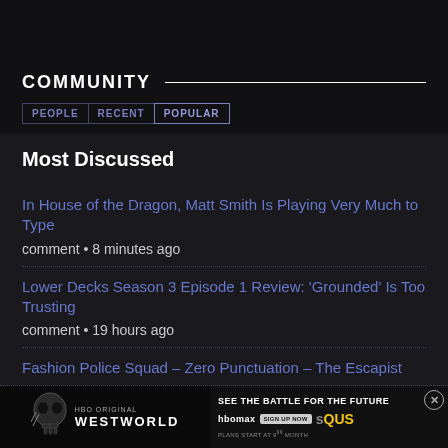COMMUNITY
PEOPLE
RECENT
POPULAR
Most Discussed
In House of the Dragon, Matt Smith Is Playing Very Much to Type
comment • 8 minutes ago
Lower Decks Season 3 Episode 1 Review: 'Grounded' Is Too Trusting
comment • 19 hours ago
Fashion Police Squad – Zero Punctuation – The Escapist
comment • 34 minutes ago
[Figure (advertisement): Westworld HBO Max advertisement banner with skull robot image and 'SEE THE BATTLE FOR THE FUTURE' text, HBO Max logo, sign up now button, and DISQUS branding]